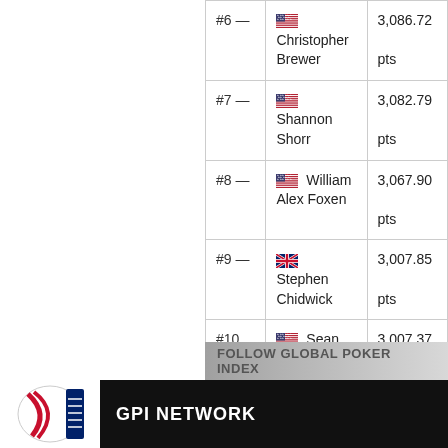| Rank | Player | Points |
| --- | --- | --- |
| #6 — | Christopher Brewer | 3,086.72 pts |
| #7 — | Shannon Shorr | 3,082.79 pts |
| #8 — | William Alex Foxen | 3,067.90 pts |
| #9 — | Stephen Chidwick | 3,007.85 pts |
| #10 ▲+4 | Sean Winter | 3,007.37 pts |
FOLLOW GLOBAL POKER INDEX
GPI NETWORK